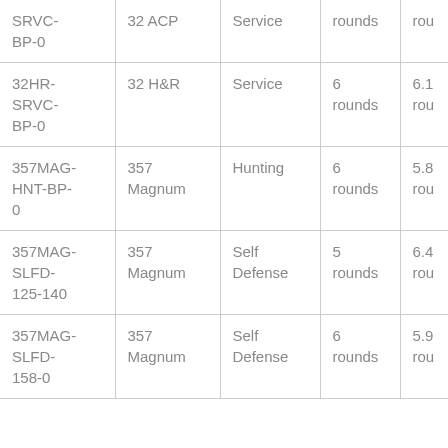| SRVC-BP-0 | 32 ACP | Service | rounds | rou |
| 32HR-SRVC-BP-0 | 32 H&R | Service | 6 rounds | 6.1 rou |
| 357MAG-HNT-BP-0 | 357 Magnum | Hunting | 6 rounds | 5.8 rou |
| 357MAG-SLFD-125-140 | 357 Magnum | Self Defense | 5 rounds | 6.4 rou |
| 357MAG-SLFD-158-0 | 357 Magnum | Self Defense | 6 rounds | 5.9 rou |